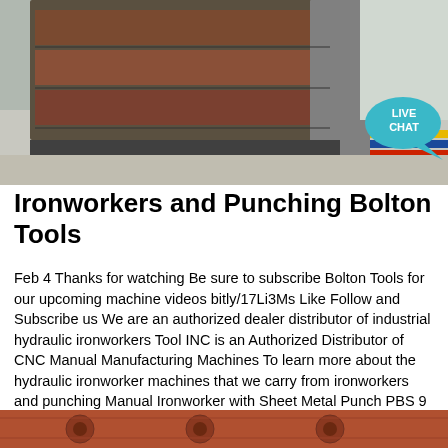[Figure (photo): Industrial ironworker/punching machine in a warehouse setting, with metal sheets and gravel floor visible. A teal 'LIVE CHAT' speech bubble icon is overlaid in the upper right corner.]
Ironworkers and Punching Bolton Tools
Feb 4 Thanks for watching Be sure to subscribe Bolton Tools for our upcoming machine videos bitly/17Li3Ms Like Follow and Subscribe us We are an authorized dealer distributor of industrial hydraulic ironworkers Tool INC is an Authorized Distributor of CNC Manual Manufacturing Machines To learn more about the hydraulic ironworker machines that we carry from ironworkers and punching Manual Ironworker with Sheet Metal Punch PBS 9 FEATURES 1 Double Universal Metal Fabricating Equipment M42
[Figure (photo): Bottom strip showing close-up of industrial metal punch or ironworker tooling, rust-colored metal parts visible.]